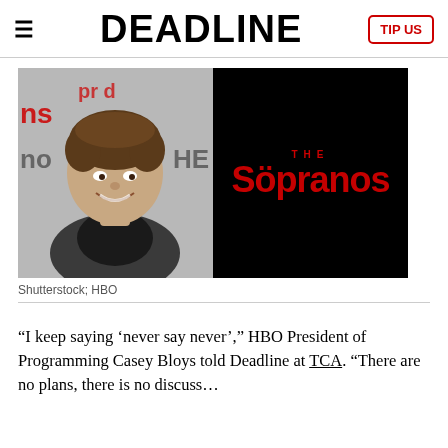DEADLINE
[Figure (photo): Left: Young man smiling at a red carpet event. Right: The Sopranos HBO logo on black background.]
Shutterstock; HBO
“I keep saying ‘never say never’,” HBO President of Programming Casey Bloys told Deadline at TCA. “There are no plans, there is no discuss…